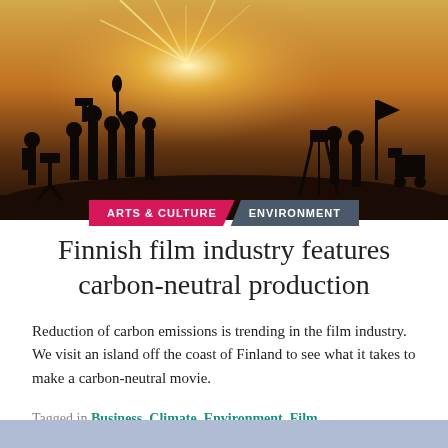[Figure (photo): Silhouettes of a film crew with equipment against a bright sunset sky]
ARTS & CULTURE   ENVIRONMENT
Finnish film industry features carbon-neutral production
Reduction of carbon emissions is trending in the film industry. We visit an island off the coast of Finland to see what it takes to make a carbon-neutral movie.
Tagged in Business, Climate, Environment, Film, Innovation, Literature